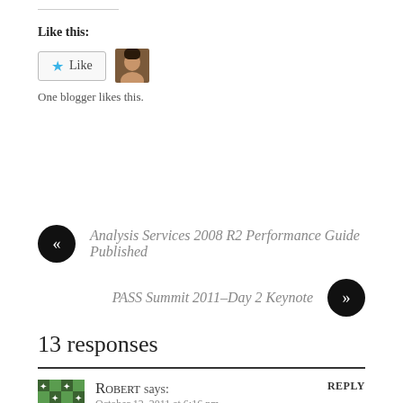Like this:
Like | One blogger likes this.
Analysis Services 2008 R2 Performance Guide Published
PASS Summit 2011–Day 2 Keynote
13 responses
ROBERT says: October 12, 2011 at 6:16 pm
REPLY